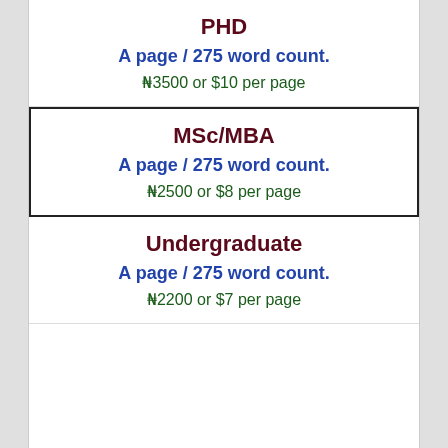PHD
A page / 275 word count.
₦3500 or $10 per page
MSc/MBA
A page / 275 word count.
₦2500 or $8 per page
Undergraduate
A page / 275 word count.
₦2200 or $7 per page